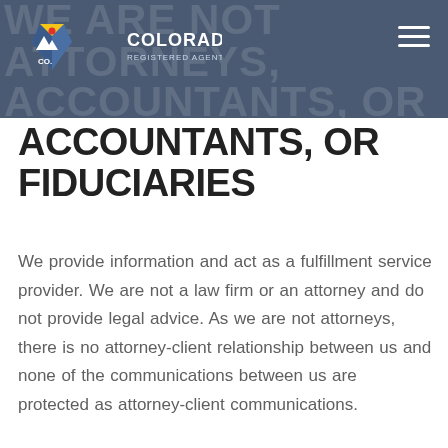Colorado Registered Agent, LLC — WE ARE NOT ATTORNEYS, ACCOUNTANTS, OR FIDUCIARIES
ACCOUNTANTS, OR FIDUCIARIES
We provide information and act as a fulfillment service provider. We are not a law firm or an attorney and do not provide legal advice. As we are not attorneys, there is no attorney-client relationship between us and none of the communications between us are protected as attorney-client communications.